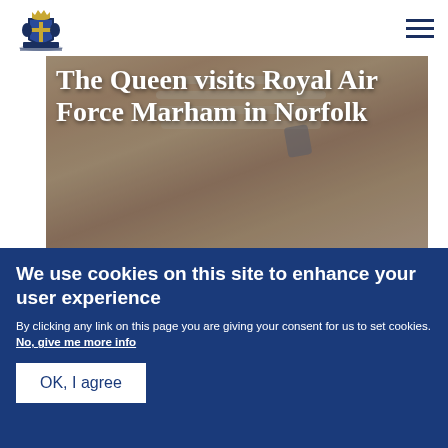Royal Family website header with crest logo and hamburger menu
[Figure (photo): Close-up photo of hands wearing pearl necklaces and a brooch, with title overlay 'The Queen visits Royal Air Force Marham in Norfolk' and published date '3 February 2020']
The Queen visits Royal Air Force Marham in Norfolk
Published 3 February 2020
[Figure (photo): Partial photo showing purple floral fabric or flowers]
We use cookies on this site to enhance your user experience
By clicking any link on this page you are giving your consent for us to set cookies. No, give me more info
OK, I agree